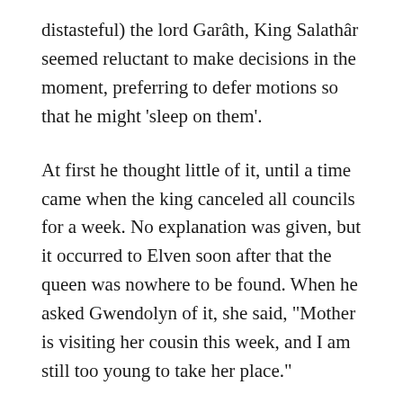distasteful) the lord Garâth, King Salathâr seemed reluctant to make decisions in the moment, preferring to defer motions so that he might ‘sleep on them’.
At first he thought little of it, until a time came when the king canceled all councils for a week. No explanation was given, but it occurred to Elven soon after that the queen was nowhere to be found. When he asked Gwendolyn of it, she said, “Mother is visiting her cousin this week, and I am still too young to take her place.”